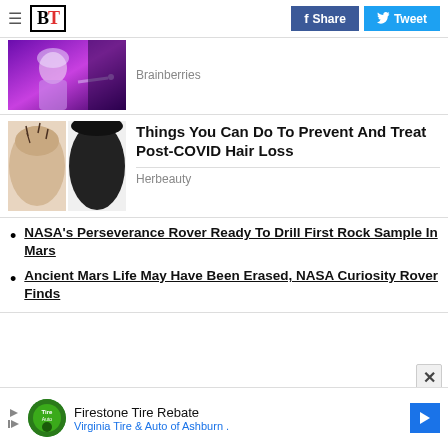BT | f Share | Tweet
[Figure (photo): Purple-toned image of a person with light/white hair in dark environment]
Brainberries
[Figure (photo): Split image showing hair loss vs healthy hair on scalp]
Things You Can Do To Prevent And Treat Post-COVID Hair Loss
Herbeauty
NASA's Perseverance Rover Ready To Drill First Rock Sample In Mars
Ancient Mars Life May Have Been Erased, NASA Curiosity Rover Finds
[Figure (photo): Firestone Tire Rebate advertisement - Virginia Tire & Auto of Ashburn]